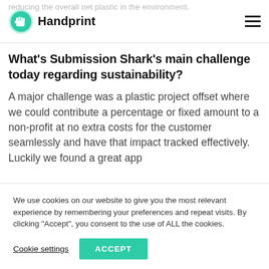reducing the overall net plastic in the environment.
[Figure (logo): Handprint logo: green circular fist icon with company name 'Handprint' in bold black text]
What's Submission Shark's main challenge today regarding sustainability?
A major challenge was a plastic project offset where we could contribute a percentage or fixed amount to a non-profit at no extra costs for the customer seamlessly and have that impact tracked effectively. Luckily we found a great app
We use cookies on our website to give you the most relevant experience by remembering your preferences and repeat visits. By clicking "Accept", you consent to the use of ALL the cookies.
Cookie settings  ACCEPT